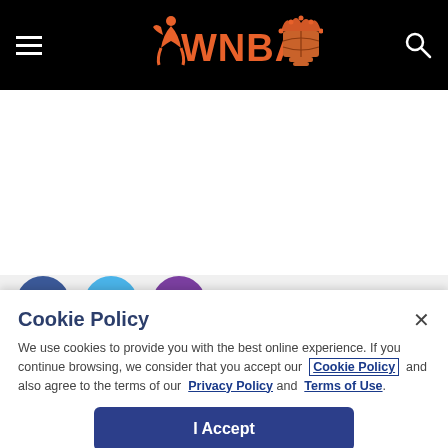[Figure (logo): WNBA website header with hamburger menu icon on left, WNBA logo (orange player silhouette and WNBA text) in center, orange trophy/crown basketball icon, and white search icon on right, all on black background]
[Figure (illustration): Social media icons: Facebook (blue circle with f), Twitter (light blue circle with bird), Email/envelope (purple circle)]
Cookie Policy
We use cookies to provide you with the best online experience. If you continue browsing, we consider that you accept our Cookie Policy and also agree to the terms of our Privacy Policy and Terms of Use.
I Accept